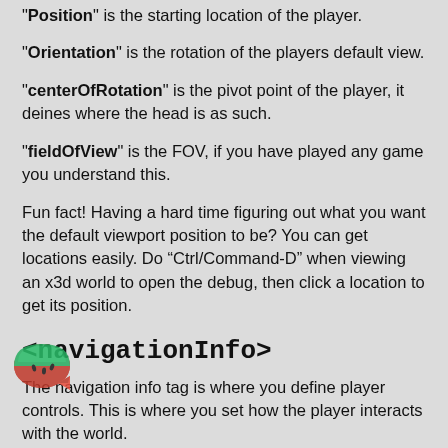"Position" is the starting location of the player.
"Orientation" is the rotation of the players default view.
"centerOfRotation" is the pivot point of the player, it deines where the head is as such.
"fieldOfView" is the FOV, if you have played any game you understand this.
Fun fact! Having a hard time figuring out what you want the default viewport position to be? You can get locations easily. Do "Ctrl/Command-D" when viewing an x3d world to open the debug, then click a location to get its position.
<navigationInfo>
The navigation info tag is where you define player controls. This is where you set how the player interacts with the world.
"Type" this define the kind of navigation. "LOOKAT" is a